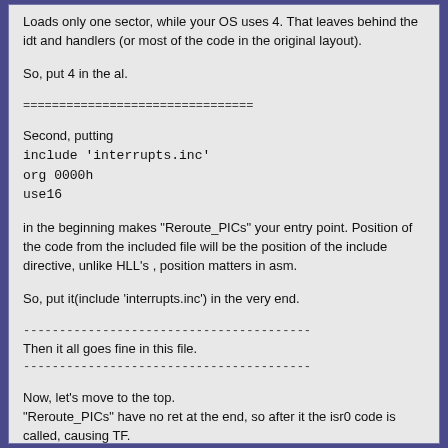Loads only one sector, while your OS uses 4. That leaves behind the idt and handlers (or most of the code in the original layout).
So, put 4 in the al.
================================
Second, putting
include 'interrupts.inc'
org 0000h
use16
in the beginning makes "Reroute_PICs" your entry point. Position of the code from the included file will be the position of the include directive, unlike HLL's , position matters in asm.
So, put it(include 'interrupts.inc') in the very end.
----------------------------------------
Then it all goes fine in this file.
----------------------------------------
Now, let's move to the top.
"Reroute_PICs" have no ret at the end, so after it the isr0 code is called, causing TF.
----------------------------------------
At that point program becomes show-functional.
----------------------------------------